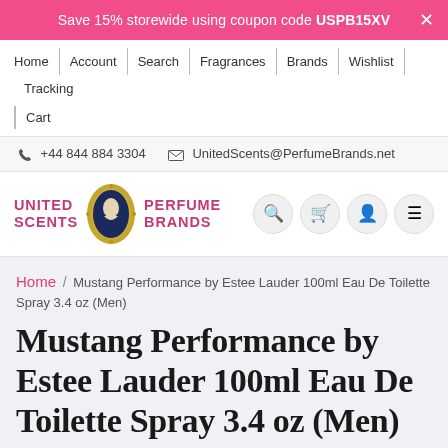Save 15% storewide using coupon code USPB15XV
Home | Account | Search | Fragrances | Brands | Wishlist | Tracking | Cart
+44 844 884 3304   UnitedScents@PerfumeBrands.net
[Figure (logo): United Perfume Scents Brands logo with cameo emblem and icon buttons for search, cart, account, menu]
Home / Mustang Performance by Estee Lauder 100ml Eau De Toilette Spray 3.4 oz (Men)
Mustang Performance by Estee Lauder 100ml Eau De Toilette Spray 3.4 oz (Men)